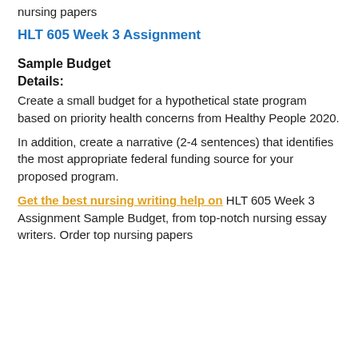nursing papers
HLT 605 Week 3 Assignment
Sample Budget
Details:
Create a small budget for a hypothetical state program based on priority health concerns from Healthy People 2020.
In addition, create a narrative (2-4 sentences) that identifies the most appropriate federal funding source for your proposed program.
Get the best nursing writing help on HLT 605 Week 3 Assignment Sample Budget, from top-notch nursing essay writers. Order top nursing papers